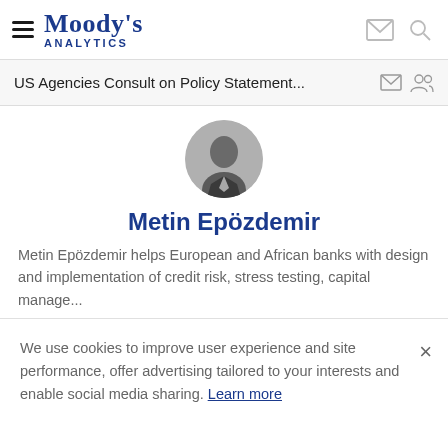Moody's Analytics
US Agencies Consult on Policy Statement...
[Figure (photo): Black and white profile photo of Metin Epözdemir, a man wearing a suit]
Metin Epözdemir
Metin Epözdemir helps European and African banks with design and implementation of credit risk, stress testing, capital manage...
We use cookies to improve user experience and site performance, offer advertising tailored to your interests and enable social media sharing. Learn more